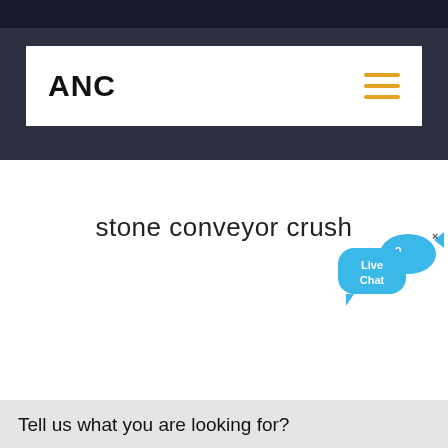ANC
[Figure (screenshot): Live Chat widget with blue speech bubble and fish icon, close button]
stone conveyor crush
Tell us what you are looking for?